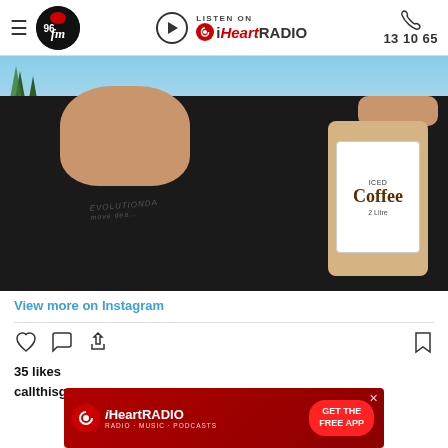96fm Perth | LISTEN ON iHeartRADIO | 13 10 65
[Figure (photo): Man in black Evolution Dance t-shirt holding a 2 Litre Iced Coffee carton, smiling, with trees and sky in background]
View more on Instagram
35 likes
callthisguy
[Figure (screenshot): iHeartRADIO advertisement banner with logo and GET THE FREE APP button]